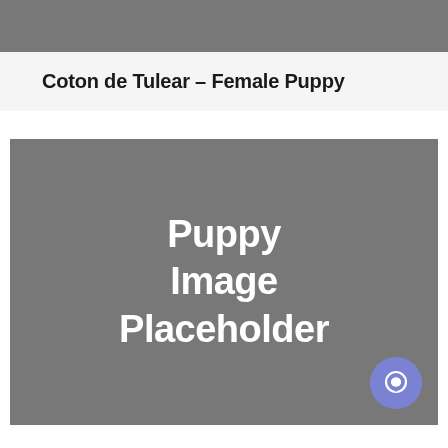[Figure (other): Dark grey top navigation bar]
Coton de Tulear – Female Puppy
[Figure (photo): Puppy Image Placeholder — grey rectangle with centered white bold text reading 'Puppy Image Placeholder', with a purple circular chat button in the bottom-right corner]